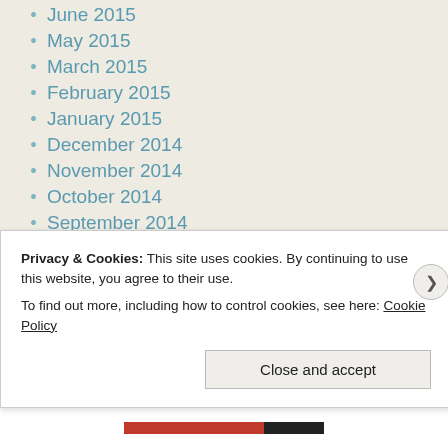June 2015
May 2015
March 2015
February 2015
January 2015
December 2014
November 2014
October 2014
September 2014
August 2014
July 2014
June 2014
May 2014
April 2014
March 2014
February 2014
Privacy & Cookies: This site uses cookies. By continuing to use this website, you agree to their use.
To find out more, including how to control cookies, see here: Cookie Policy
Close and accept